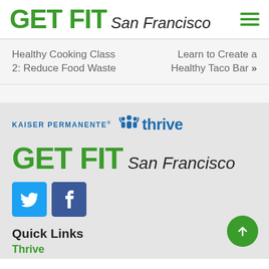GET FIT San Francisco
Healthy Cooking Class 2: Reduce Food Waste
Learn to Create a Healthy Taco Bar »
[Figure (logo): Kaiser Permanente Thrive logo with people icon above 'thrive' text and 'KAISER PERMANENTE.' text in blue]
GET FIT San Francisco
[Figure (logo): Twitter and Facebook social media icon buttons in blue square backgrounds]
Quick Links
Thrive